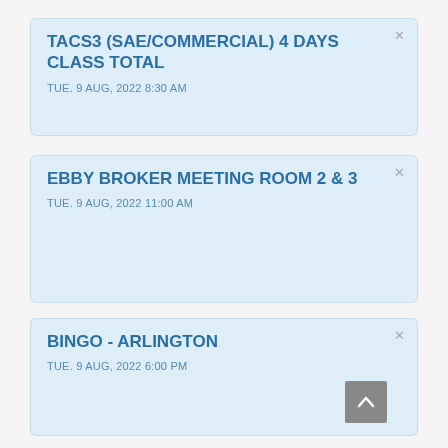TACS3 (SAE/COMMERCIAL) 4 DAYS CLASS TOTAL
TUE. 9 AUG, 2022 8:30 AM
EBBY BROKER MEETING ROOM 2 & 3
TUE. 9 AUG, 2022 11:00 AM
BINGO - ARLINGTON
TUE. 9 AUG, 2022 6:00 PM